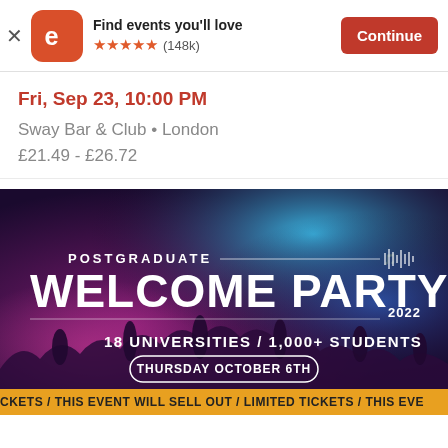Find events you'll love ★★★★★ (148k) Continue
Fri, Sep 23, 10:00 PM
Sway Bar & Club • London
£21.49 - £26.72
[Figure (photo): Promotional banner for Postgraduate Welcome Party 2022. Dark purple/blue party crowd background with text: POSTGRADUATE WELCOME PARTY 2022, 18 UNIVERSITIES / 1,000+ STUDENTS, THURSDAY OCTOBER 6TH. Bottom ticker: CKETS / THIS EVENT WILL SELL OUT / LIMITED TICKETS / THIS EVE]
CKETS / THIS EVENT WILL SELL OUT / LIMITED TICKETS / THIS EVE